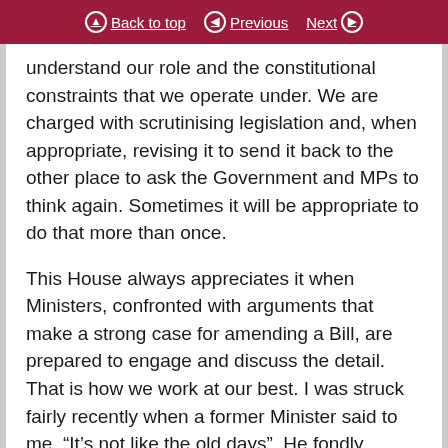Back to top | Previous | Next
understand our role and the constitutional constraints that we operate under. We are charged with scrutinising legislation and, when appropriate, revising it to send it back to the other place to ask the Government and MPs to think again. Sometimes it will be appropriate to do that more than once.
This House always appreciates it when Ministers, confronted with arguments that make a strong case for amending a Bill, are prepared to engage and discuss the detail. That is how we work at our best. I was struck fairly recently when a former Minister said to me, “It’s not like the old days”. He fondly recalled being able to take issues back to the department where he would be listened to if he made a case for change. So when were those